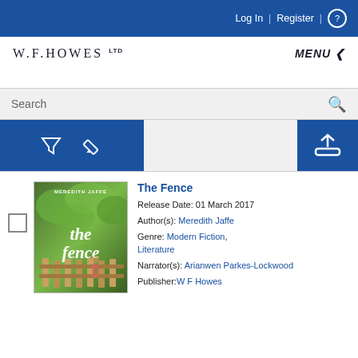Log In | Register | ?
[Figure (logo): W.F.HOWES LTD logo with MENU button]
[Figure (screenshot): Search bar with filter and upload icons]
[Figure (illustration): Book cover for 'the fence' by Meredith Jaffe, showing a child at a wooden fence with green background]
The Fence
Release Date: 01 March 2017
Author(s): Meredith Jaffe
Genre: Modern Fiction, Literature
Narrator(s): Arianwen Parkes-Lockwood
Publisher: W F Howes